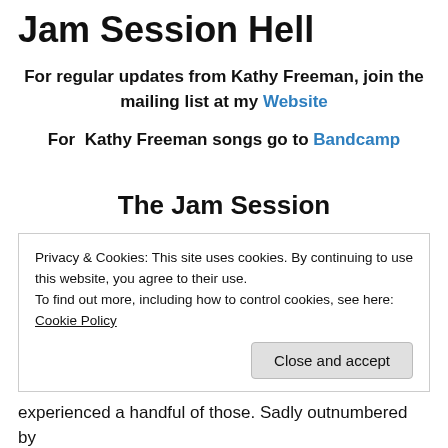Jam Session Hell
For regular updates from Kathy Freeman, join the mailing list at my Website
For  Kathy Freeman songs go to Bandcamp
The Jam Session
Privacy & Cookies: This site uses cookies. By continuing to use this website, you agree to their use.
To find out more, including how to control cookies, see here: Cookie Policy
experienced a handful of those. Sadly outnumbered by